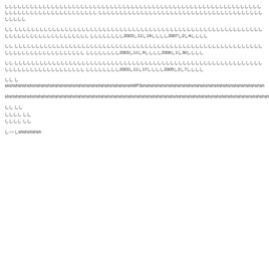ししししししししししししししししししししししししししししししししししししししししししししししししししししししししししししししししししししししししししししししししししししししししししししししししししし
しし しししししししししししししししししししししししししししししししししししししししししししししししししししshshshshshshshshshshshshshshshshshshshshsh しししししししし2003し11し14しししし2007し2し4しししし
しし ししししししししししししししししししししししししししししししししししししししししししししししししshshshshshshshshshshshshshshshshshshshshshshshshsh しししししししし2003し11し9しししし2006し1し30しししし
しし しshshshshshshshshshshshshshshshshshshshshshshshshshshshshshshshshshshshshshshshshshshshshshshshshshshshshshshsh しししししししし2003し11し17しししし2005し2し7しししし
しし しshshshshshshshshshshshshshshshshshshshshshshshshMP3shshshshshshshshshshshshshshshshshshshshshshshshshshsh
shshshshshshshshshshshshshshshshshshshshshshshshshshshshshshshshshshshshshshshshshshshshshshshshshshshshshshshshshshsh
しし しし
しししし しし
しししし しし
し○○しshshshshsh